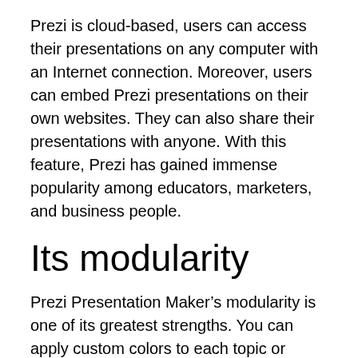Prezi is cloud-based, users can access their presentations on any computer with an Internet connection. Moreover, users can embed Prezi presentations on their own websites. They can also share their presentations with anyone. With this feature, Prezi has gained immense popularity among educators, marketers, and business people.
Its modularity
Prezi Presentation Maker’s modularity is one of its greatest strengths. You can apply custom colors to each topic or subtopic. And, since it supports cloud storage, users can see changes made by team members while they’re away from the computer. You don’t